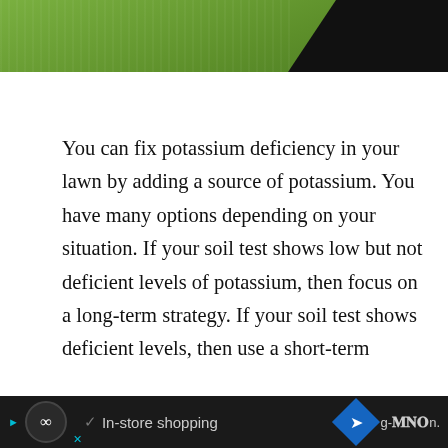[Figure (photo): Cropped photo showing green grass and a dark-clothed figure at the top of the page]
You can fix potassium deficiency in your lawn by adding a source of potassium. You have many options depending on your situation. If your soil test shows low but not deficient levels of potassium, then focus on a long-term strategy. If your soil test shows deficient levels, then use a short-term solution like liquid fertilizer, which will start fixing the problem immediately and give you [truncated]
[Figure (screenshot): Advertisement bar at the bottom: In-store shopping ad with infinity icon, checkmark, navigation diamond arrow, and weather widget]